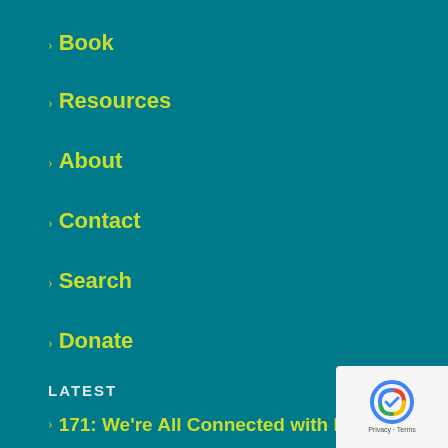> Book
> Resources
> About
> Contact
> Search
> Donate
LATEST
> 171: We're All Connected with Each Other
> 170: When People Disappoint Us
> 169: A Daughter's Feel-Good Story About Her